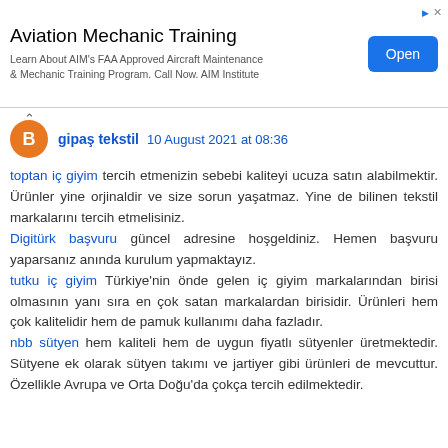[Figure (screenshot): Advertisement banner for Aviation Mechanic Training from AIM Institute with an 'Open' button]
gipaş tekstil 10 August 2021 at 08:36
toptan iç giyim tercih etmenizin sebebi kaliteyi ucuza satın alabilmektir. Ürünler yine orjinaldir ve size sorun yaşatmaz. Yine de bilinen tekstil markalarını tercih etmelisiniz.
Digitürk başvuru güncel adresine hoşgeldiniz. Hemen başvuru yaparsanız anında kurulum yapmaktayız.
tutku iç giyim Türkiye'nin önde gelen iç giyim markalarından birisi olmasının yanı sıra en çok satan markalardan birisidir. Ürünleri hem çok kalitelidir hem de pamuk kullanımı daha fazladır.
nbb sütyen hem kaliteli hem de uygun fiyatlı sütyenler üretmektedir. Sütyene ek olarak sütyen takımı ve jartiyer gibi ürünleri de mevcuttur. Özellikle Avrupa ve Orta Doğu'da çokça tercih edilmektedir.